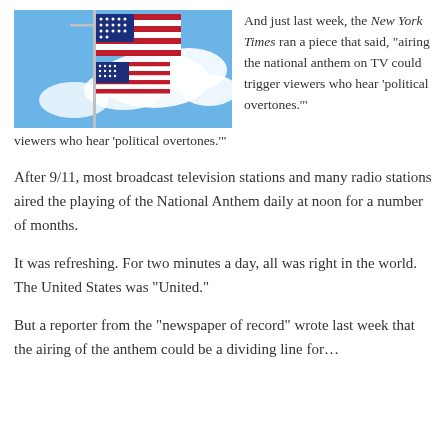[Figure (photo): Two American flags on a pole against a partly cloudy blue sky]
And just last week, the New York Times ran a piece that said, “airing the national anthem on TV could trigger viewers who hear ‘political overtones.’"
After 9/11, most broadcast television stations and many radio stations aired the playing of the National Anthem daily at noon for a number of months.
It was refreshing. For two minutes a day, all was right in the world. The United States was “United.”
But a reporter from the “newspaper of record” wrote last week that the airing of the anthem could be a dividing line for…